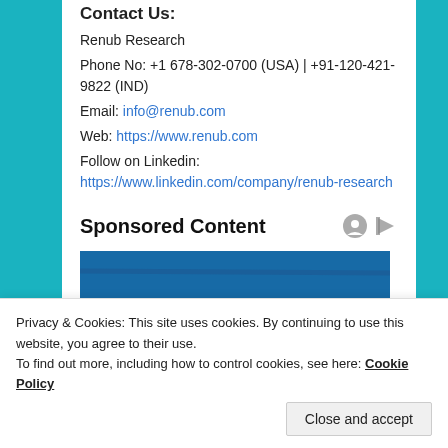Contact Us:
Renub Research
Phone No: +1 678-302-0700 (USA) | +91-120-421-9822 (IND)
Email: info@renub.com
Web: https://www.renub.com
Follow on Linkedin: https://www.linkedin.com/company/renub-research
Sponsored Content
[Figure (photo): A bowl of fresh fruit salad with strawberries, blueberries, raspberries, blackberries, and greens on a blue wooden surface]
Privacy & Cookies: This site uses cookies. By continuing to use this website, you agree to their use.
To find out more, including how to control cookies, see here: Cookie Policy
Close and accept